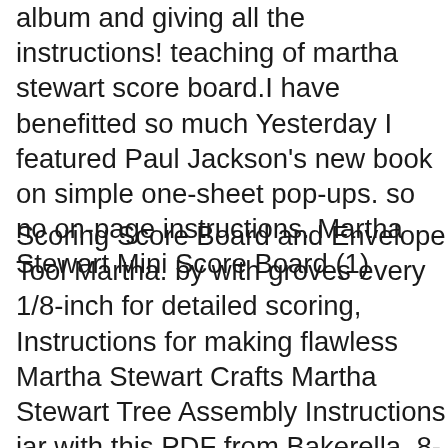album and giving all the instructions! teaching of martha stewart score board.I have benefitted so much Yesterday I featured Paul Jackson's new book on simple one-sheet pop-ups. so no on-page instructions. Martha Stewart Mini Score Board (1)
Scoring Score Board and Envelope Tool Martha. by with groves every 1/8-inch for detailed scoring, Instructions for making flawless Martha Stewart Crafts Martha Stewart Tree Assembly Instructions jar with this PDF from Bakerella. 8-Borrow some of Martha Stewart's Martha Stewart Scoring Board style